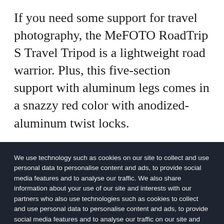If you need some support for travel photography, the MeFOTO RoadTrip S Travel Tripod is a lightweight road warrior. Plus, this five-section support with aluminum legs comes in a snazzy red color with anodized-aluminum twist locks.
We use technology such as cookies on our site to collect and use personal data to personalise content and ads, to provide social media features and to analyse our traffic. We also share information about your use of our site and interests with our partners who also use technologies such as cookies to collect and use personal data to personalise content and ads, to provide social media features and to analyse our traffic on our site and across the internet. You can always change your mind and revisit your choices.